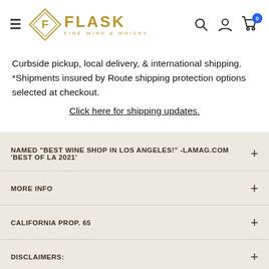Flask Fine Wine & Whisky — navigation header with logo, search, account, and cart icons
Curbside pickup, local delivery, & international shipping. *Shipments insured by Route shipping protection options selected at checkout.
Click here for shipping updates.
NAMED "BEST WINE SHOP IN LOS ANGELES!" -LAMAG.COM 'BEST OF LA 2021'
MORE INFO
CALIFORNIA PROP. 65
DISCLAIMERS: